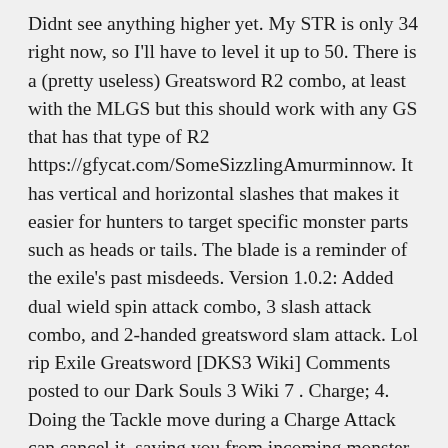Didnt see anything higher yet. My STR is only 34 right now, so I'll have to level it up to 50. There is a (pretty useless) Greatsword R2 combo, at least with the MLGS but this should work with any GS that has that type of R2 https://gfycat.com/SomeSizzlingAmurminnow. It has vertical and horizontal slashes that makes it easier for hunters to target specific monster parts such as heads or tails. The blade is a reminder of the exile's past misdeeds. Version 1.0.2: Added dual wield spin attack combo, 3 slash attack combo, and 2-handed greatsword slam attack. Lol rip Exile Greatsword [DKS3 Wiki] Comments posted to our Dark Souls 3 Wiki 7 . Charge; 4. Doing the Tackle move during a Charge Attack can cancel it, saving you from incoming monster attacks. Splitleaf Greatsword is a Weapon in Dark Souls 3. I hope you guys learn some new combos ... The Great Sword can be used to block incoming monster attacks if you do not have time to dodge. Khillian MacDille. This was patched out a long time ago. Buster. That's exactly how it should work. Splitleaf refers to the shape of the sword blade and its overall damage to the edges of